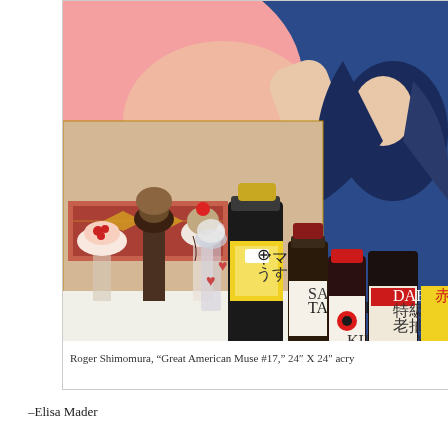[Figure (illustration): Painting by Roger Shimomura showing a woman with dark hair wearing a blue top, surrounded by ice cream sundaes and Japanese soy sauce bottles (Yamasa, Tamari, Kikkoman, Dark Soy) in front of a colorful background with a patterned rug.]
Roger Shimomura, "Great American Muse #17," 24" X 24" acry
–Elisa Mader